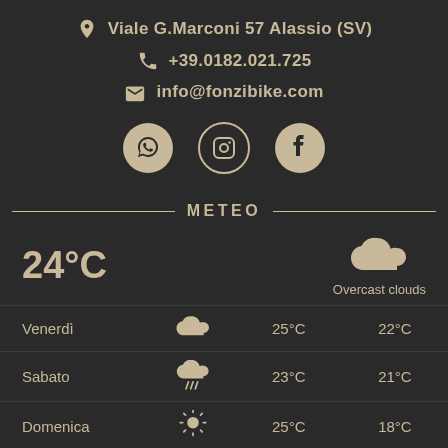Viale G.Marconi 57 Alassio (SV)
+39.0182.021.725
info@fonzibike.com
[Figure (infographic): WhatsApp, Instagram, and Facebook social media icons in circles]
METEO
24°C
Overcast clouds
|  |  |  |  |
| --- | --- | --- | --- |
| Venerdì | (cloud icon) | 25°C | 22°C |
| Sabato | (rain icon) | 23°C | 21°C |
| Domenica | (sun icon) | 25°C | 18°C |